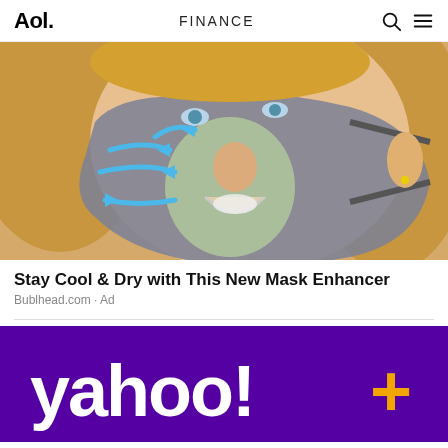Aol. | FINANCE
[Figure (photo): Woman wearing a gray face mask with a transparent window insert showing her nose and mouth area, with blue airflow arrows indicating air circulation through the mask]
Stay Cool & Dry with This New Mask Enhancer
Bublhead.com · Ad
[Figure (logo): Yahoo!+ logo in white text with gold plus sign on a purple background]